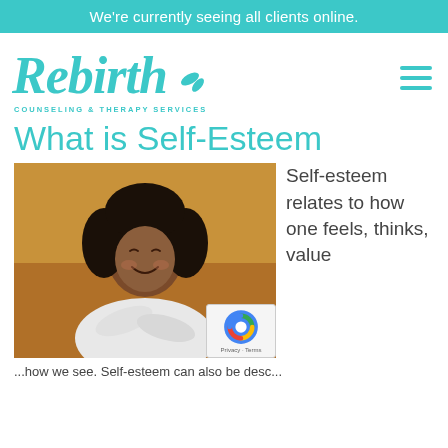We're currently seeing all clients online.
[Figure (logo): Rebirth Counseling & Therapy Services logo in teal/turquoise script with leaf accent]
What is Self-Esteem
[Figure (photo): Woman with curly hair smiling with eyes closed, arms crossed over her chest, wearing a white shirt, against an orange/gold background]
Self-esteem relates to how one feels, thinks, value
...how we see. Self-esteem can also be desc...